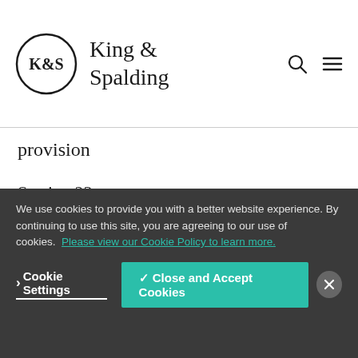King & Spalding
provision
Section 23   Contravention of the general prohibition set out in section 19 of FSMA (that is, carrying on a regulated activity in the
We use cookies to provide you with a better website experience. By continuing to use this site, you are agreeing to our use of cookies. Please view our Cookie Policy to learn more.